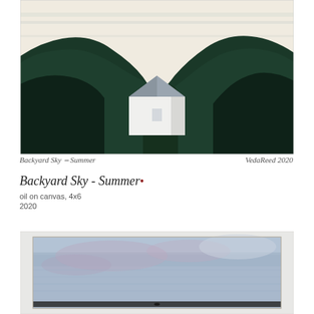[Figure (illustration): Oil painting of a white barn/house nestled between dark green rolling hills under a pale cream sky with faint blue cloud streaks. Signed 'Backyard Sky - Summer' and 'VedaReed 2020' in handwritten script below the painting.]
Backyard Sky - Summer    VedaReed 2020
Backyard Sky - Summer•
oil on canvas, 4x6
2020
[Figure (illustration): Partial view of a second oil painting showing a blue-grey sky with soft pinkish-purple clouds, and a thin dark horizon line at the bottom with a small dark figure/bird silhouette visible.]